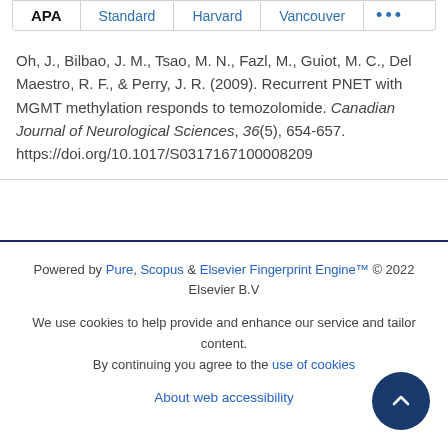APA | Standard | Harvard | Vancouver | ...
Oh, J., Bilbao, J. M., Tsao, M. N., Fazl, M., Guiot, M. C., Del Maestro, R. F., & Perry, J. R. (2009). Recurrent PNET with MGMT methylation responds to temozolomide. Canadian Journal of Neurological Sciences, 36(5), 654-657. https://doi.org/10.1017/S0317167100008209
Powered by Pure, Scopus & Elsevier Fingerprint Engine™ © 2022 Elsevier B.V
We use cookies to help provide and enhance our service and tailor content. By continuing you agree to the use of cookies
About web accessibility